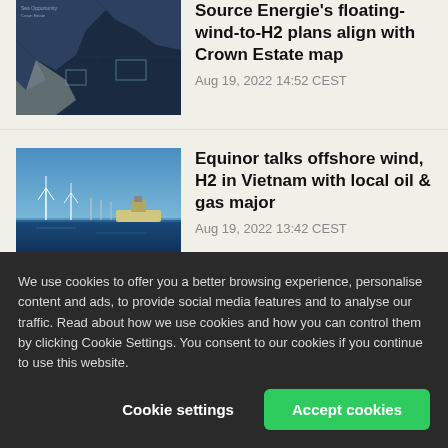[Figure (map): Dark navy and grey map showing coastline/offshore wind zones]
Source Energie's floating-wind-to-H2 plans align with Crown Estate map
Aug 19, 2022 14:52 CEST
[Figure (photo): Offshore wind turbines and a vessel on blue sea under blue sky]
Equinor talks offshore wind, H2 in Vietnam with local oil & gas major
Aug 19, 2022 13:42 CEST
[Figure (photo): Sky with clouds over flat landscape]
Hyphen sees deal signing by year-end, sister firm heads H2
We use cookies to offer you a better browsing experience, personalise content and ads, to provide social media features and to analyse our traffic. Read about how we use cookies and how you can control them by clicking Cookie Settings. You consent to our cookies if you continue to use this website.
Cookie settings
Accept cookies